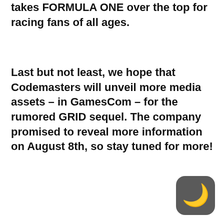takes FORMULA ONE over the top for racing fans of all ages.
Last but not least, we hope that Codemasters will unveil more media assets – in GamesCom – for the rumored GRID sequel. The company promised to reveal more information on August 8th, so stay tuned for more!
[Figure (logo): A dark gray rounded square logo containing a white crescent moon shape, resembling a 'C' letter icon.]